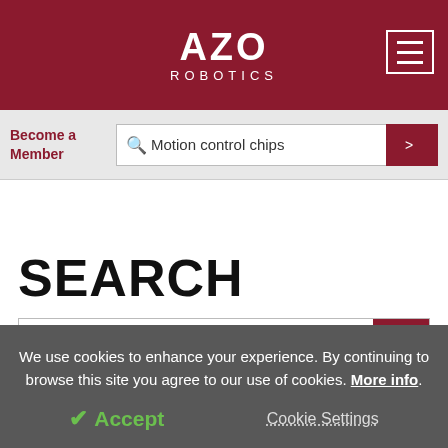AZO ROBOTICS
Become a Member
Motion control chips
SEARCH
Motion control chips
We use cookies to enhance your experience. By continuing to browse this site you agree to our use of cookies. More info.
Accept
Cookie Settings